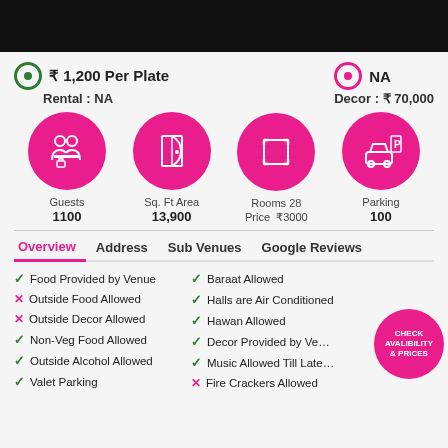[Figure (screenshot): Black header bar at top of mobile app]
₹ 1,200 Per Plate
NA
Rental : NA
Decor : ₹ 70,000
[Figure (infographic): Four pink circles with icons: Guests 1100, Sq. Ft Area 13,900, Rooms 28 Price ₹3000, Parking 100]
Guests
1100
Sq. Ft Area
13,900
Rooms 28
Price  ₹3000
Parking
100
Overview
Address
Sub Venues
Google Reviews
✓ Food Provided by Venue
✓ Baraat Allowed
✗ Outside Food Allowed
✓ Halls are Air Conditioned
✗ Outside Decor Allowed
✓ Hawan Allowed
✓ Non-Veg Food Allowed
✓ Decor Provided by Ve…
✓ Outside Alcohol Allowed
✓ Music Allowed Till Late…
✓ Valet Parking
✗ Fire Crackers Allowed
[Figure (infographic): CHECK AVALIBILITY & PRICES button badge in pink circle]